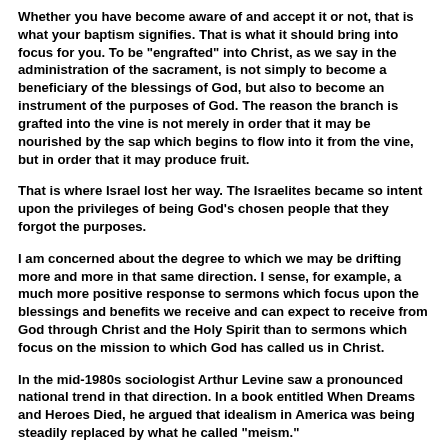Whether you have become aware of and accept it or not, that is what your baptism signifies. That is what it should bring into focus for you. To be "engrafted" into Christ, as we say in the administration of the sacrament, is not simply to become a beneficiary of the blessings of God, but also to become an instrument of the purposes of God. The reason the branch is grafted into the vine is not merely in order that it may be nourished by the sap which begins to flow into it from the vine, but in order that it may produce fruit.
That is where Israel lost her way. The Israelites became so intent upon the privileges of being God's chosen people that they forgot the purposes.
I am concerned about the degree to which we may be drifting more and more in that same direction. I sense, for example, a much more positive response to sermons which focus upon the blessings and benefits we receive and can expect to receive from God through Christ and the Holy Spirit than to sermons which focus on the mission to which God has called us in Christ.
In the mid-1980s sociologist Arthur Levine saw a pronounced national trend in that direction. In a book entitled When Dreams and Heroes Died, he argued that idealism in America was being steadily replaced by what he called "meism."
Bradshaw Frey of Geneva College in Beaver Falls, Pennsylvania, observed the same thing and wrote: